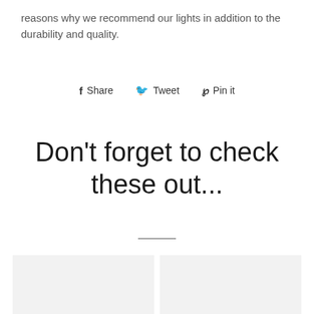reasons why we recommend our lights in addition to the durability and quality.
f Share   🐦 Tweet   ❤ Pin it
Don't forget to check these out...
[Figure (photo): Two product image placeholders side by side with light gray backgrounds]